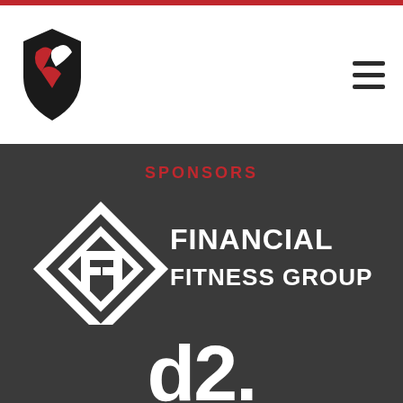[Figure (logo): Red and black shield logo with a stylized flying figure, top-left of white header]
[Figure (logo): Hamburger menu icon (three horizontal dark lines), top-right of white header]
SPONSORS
[Figure (logo): Financial Fitness Group logo: white diamond/rhombus shape with 'FF' letters inside, beside bold white text reading FINANCIAL FITNESS GROUP]
[Figure (logo): Partial logo showing white stylized 'd2.' text, partially cut off at bottom of page]